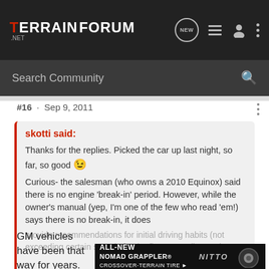TERRAIN FORUM .NET
Search Community
#16 · Sep 9, 2011
skotti said:
Thanks for the replies. Picked the car up last night, so far, so good 😉
Curious- the salesman (who owns a 2010 Equinox) said there is no engine 'break-in' period. However, while the owner's manual (yep, I'm one of the few who read 'em!) says there is no break-in, it does provide recommendations for initial driving habits (not exceeding certain speeds for the first XXX miles, etc).
Click to expand...
GM vehicles have been that way for years. The varying speeds is most
[Figure (advertisement): Nitto ALL-NEW NOMAD GRAPPLER CROSSOVER-TERRAIN TIRE advertisement banner with tire image]